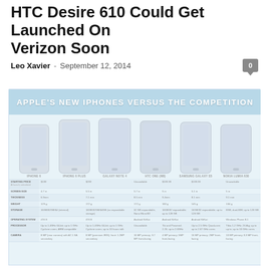HTC Desire 610 Could Get Launched On Verizon Soon
Leo Xavier  -  September 12, 2014
[Figure (infographic): Infographic titled 'Apple's New iPhones Versus The Competition' showing a comparison table of 6 smartphones: iPhone 6, iPhone 6 Plus, Galaxy Note 4, HTC One (M8), Samsung Galaxy S5, Nokia Lumia 630. Rows compare: Starting Price, Screen Size, Thickness, Weight, Storage, Operating System, Processor, Battery, Camera.]